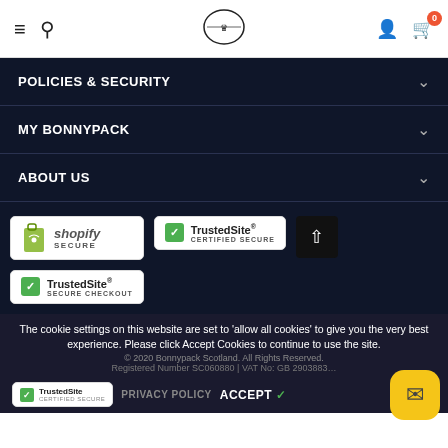Navigation header with hamburger menu, search, logo, user icon, and cart (0 items)
POLICIES & SECURITY
MY BONNYPACK
ABOUT US
[Figure (logo): Shopify Secure badge]
[Figure (logo): TrustedSite Certified Secure badge]
[Figure (logo): Scroll to top button]
[Figure (logo): TrustedSite Secure Checkout badge]
The cookie settings on this website are set to 'allow all cookies' to give you the very best experience. Please click Accept Cookies to continue to use the site.
© 2020 Bonnypack Scotland. All Rights Reserved.
Registered Number SC060880 | VAT No. GB 290388383
[Figure (logo): TrustedSite badge small]
PRIVACY POLICY   ACCEPT ✓
[Figure (other): Email contact FAB button (yellow rounded square)]